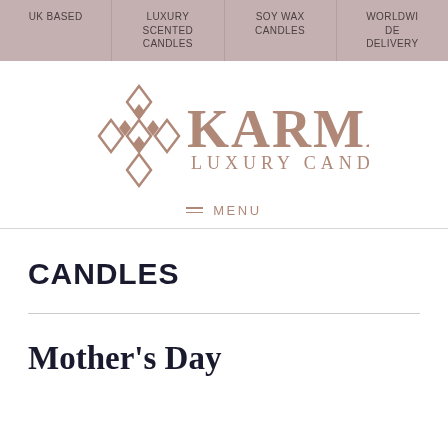UK BASED | LUXURY SCENTED CANDLES | SOY WAX CANDLES | WORLDWIDE DELIVERY
[Figure (logo): Karma Luxury Candles logo with geometric diamond pattern icon in mauve/rose color and brand name text]
≡ MENU
CANDLES
Mother's Day